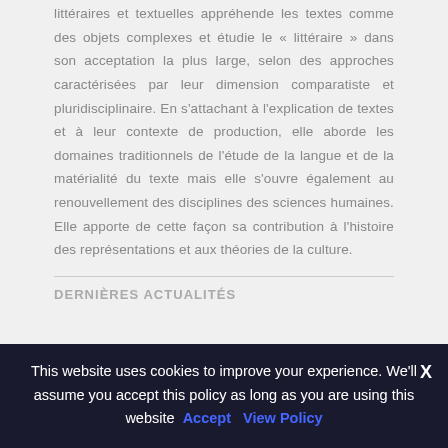littéraires et textuelles appréhende les textes comme des objets complexes et étudie le « littéraire » dans son acceptation la plus large, selon des approches caractérisées par leur dimension comparatiste et pluridisciplinaire. En s'attachant à l'explication de textes et à leur contexte de production, elle aborde les domaines traditionnels de l'étude de la langue et de la matérialité du texte mais elle s'ouvre également au renouvellement des disciplines des sciences humaines. Elle apporte de cette façon sa contribution à l'histoire des représentations et aux théories de la culture.
DERNIÈRES ACTUALITÉS
This website uses cookies to improve your experience. We'll assume you accept this policy as long as you are using this website